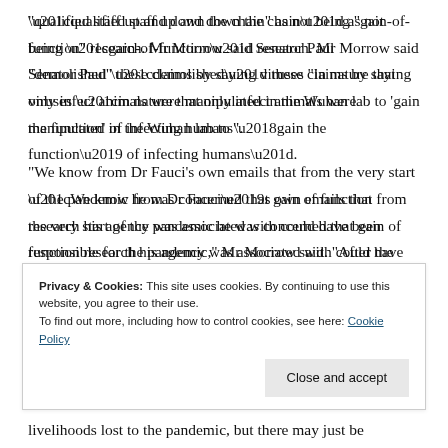“qualified staff up and down the chain” as not being “gain-of-function” research. Mr Morrow said Senator Paul “demolished” these claims by saying viruses “in nature that only infect animals were manipulated in the Wuhan lab to ‘gain the function’ of infecting humans”.
“We know from Dr Fauci’s own emails that from the very start of the pandemic he was concerned that gain of function research his agency was associated with could have been responsible for the pandemic,” Mr Morrow said. “After the exchange, Senator Paul said he was
Privacy & Cookies: This site uses cookies. By continuing to use this website, you agree to their use. To find out more, including how to control cookies, see here: Cookie Policy
livelihoods lost to the pandemic, but there may just be